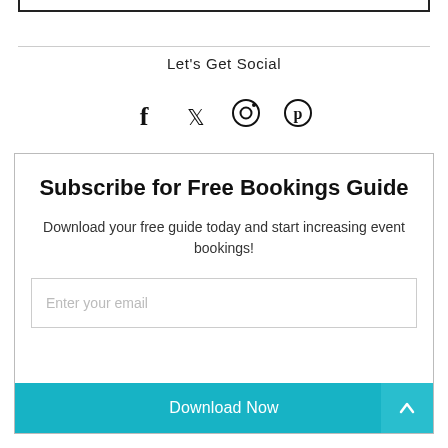Let's Get Social
[Figure (infographic): Social media icons: Facebook (f), Twitter (bird), Instagram (circle camera), Pinterest (P circle)]
Subscribe for Free Bookings Guide
Download your free guide today and start increasing event bookings!
Enter your email
Download Now